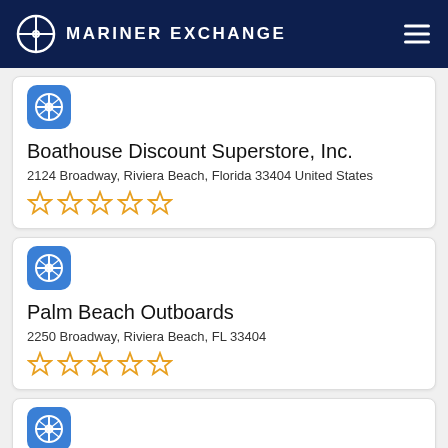MARINER EXCHANGE
Boathouse Discount Superstore, Inc.
2124 Broadway, Riviera Beach, Florida 33404 United States
★★★★★ (0 stars)
Palm Beach Outboards
2250 Broadway, Riviera Beach, FL 33404
★★★★★ (0 stars)